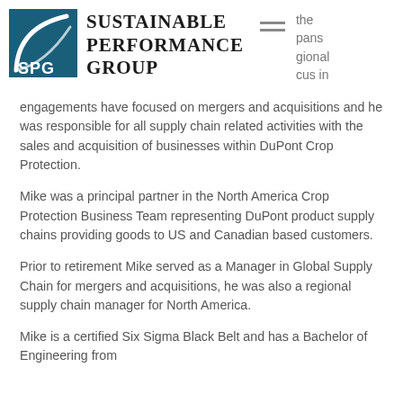[Figure (logo): SPG Sustainable Performance Group logo — blue square with white arc and SPG text]
Sustainable Performance Group
the pans gional cus in
engagements have focused on mergers and acquisitions and he was responsible for all supply chain related activities with the sales and acquisition of businesses within DuPont Crop Protection.
Mike was a principal partner in the North America Crop Protection Business Team representing DuPont product supply chains providing goods to US and Canadian based customers.
Prior to retirement Mike served as a Manager in Global Supply Chain for mergers and acquisitions, he was also a regional supply chain manager for North America.
Mike is a certified Six Sigma Black Belt and has a Bachelor of Engineering from